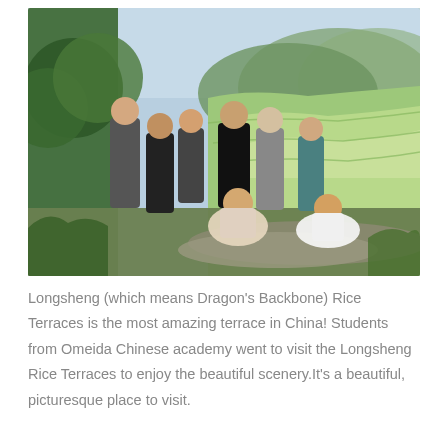[Figure (photo): Group photo of students and faculty from Omeida Chinese Academy posing together on a hillside at the Longsheng Rice Terraces in China. Green terraced rice fields and mountains visible in the background. Approximately 10 people in the photo.]
Longsheng (which means Dragon's Backbone) Rice Terraces is the most amazing terrace in China! Students from Omeida Chinese academy went to visit the Longsheng Rice Terraces to enjoy the beautiful scenery.It's a beautiful, picturesque place to visit.